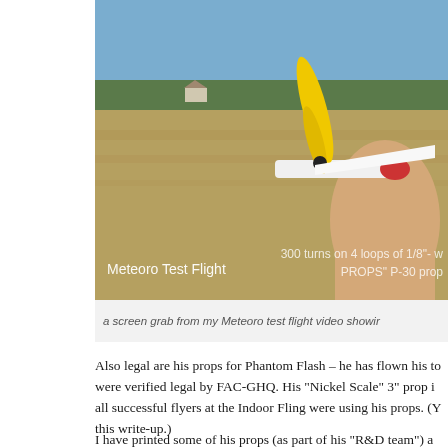[Figure (photo): A person holding a small model airplane with a yellow propeller against an outdoor field background with trees and blue sky. Overlaid text reads 'Meteoro Test Flight' on the lower left and '300 turns on 4 loops of 1/8"- w... PROPS" P-30 prop' on the lower right.]
a screen grab from my Meteoro test flight video showir
Also legal are his props for Phantom Flash – he has flown his to were verified legal by FAC-GHQ. His "Nickel Scale" 3" prop i all successful flyers at the Indoor Fling were using his props. (Y this write-up.)
I have printed some of his props (as part of his "R&D team") a